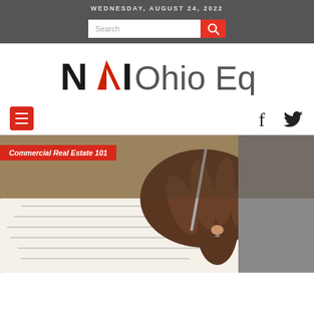WEDNESDAY, AUGUST 24, 2022
[Figure (logo): NAI Ohio Equities logo — bold NAI with red chevron, then Ohio Equities in gray]
[Figure (photo): Close-up of a person's hand signing a document with a pen on a wooden desk, with a red badge overlay reading 'Commercial Real Estate 101']